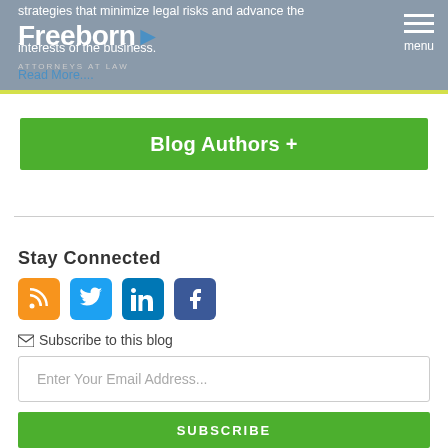strategies that minimize legal risks and advance the interests of the business.
Read More....
Blog Authors +
Stay Connected
Subscribe to this blog
Enter Your Email Address...
SUBSCRIBE